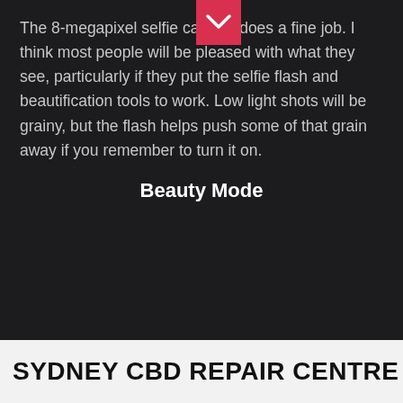The 8-megapixel selfie camera does a fine job. I think most people will be pleased with what they see, particularly if they put the selfie flash and beautification tools to work. Low light shots will be grainy, but the flash helps push some of that grain away if you remember to turn it on.
Beauty Mode
[Figure (screenshot): Teal circular chat button icon on dark background]
[Figure (photo): Broken/missing image placeholder]
SYDNEY CBD REPAIR CENTRE  MENU ≡